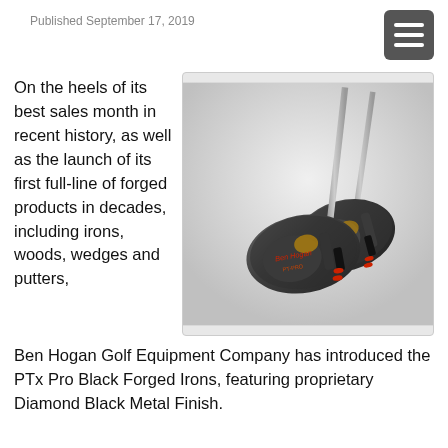Published September 17, 2019
On the heels of its best sales month in recent history, as well as the launch of its first full-line of forged products in decades, including irons, woods, wedges and putters, Ben Hogan Golf Equipment Company has introduced the PTx Pro Black Forged Irons, featuring proprietary Diamond Black Metal Finish.
[Figure (photo): Two Ben Hogan PTx Pro Black Forged irons shown side by side against a white background, with dark metallic finish and red accent details on the shaft.]